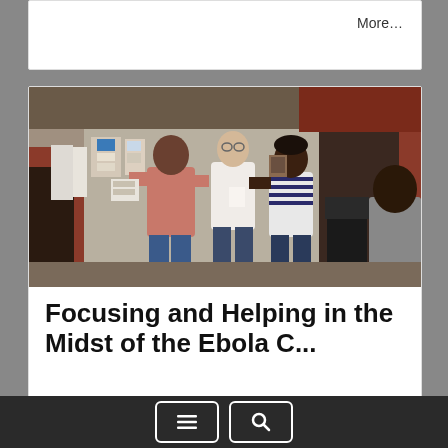More…
[Figure (photo): Three people standing inside a room, appearing to be at a health or community meeting. One person in a pink shirt holds papers, one in a white shirt holds something, and one in a striped shirt faces them. A man in a grey jacket is seated on the right. Papers and posters are visible on the wall behind them. The building has a red exterior.]
Focusing and Helping in the Midst of the Ebola C...